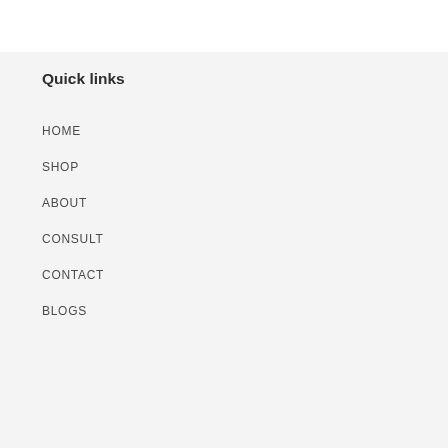Quick links
HOME
SHOP
ABOUT
CONSULT
CONTACT
BLOGS